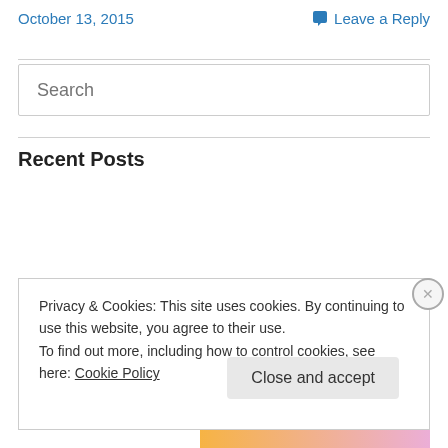October 13, 2015
Leave a Reply
Search
Recent Posts
September Song
Everything You Need to Know About the Jane Austen Book Club!
Announcing the Jane Austen Book Club!
Privacy & Cookies: This site uses cookies. By continuing to use this website, you agree to their use.
To find out more, including how to control cookies, see here: Cookie Policy
Close and accept